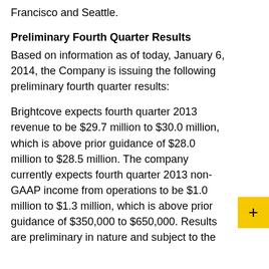Francisco and Seattle.
Preliminary Fourth Quarter Results
Based on information as of today, January 6, 2014, the Company is issuing the following preliminary fourth quarter results:
Brightcove expects fourth quarter 2013 revenue to be $29.7 million to $30.0 million, which is above prior guidance of $28.0 million to $28.5 million. The company currently expects fourth quarter 2013 non-GAAP income from operations to be $1.0 million to $1.3 million, which is above prior guidance of $350,000 to $650,000. Results are preliminary in nature and subject to the